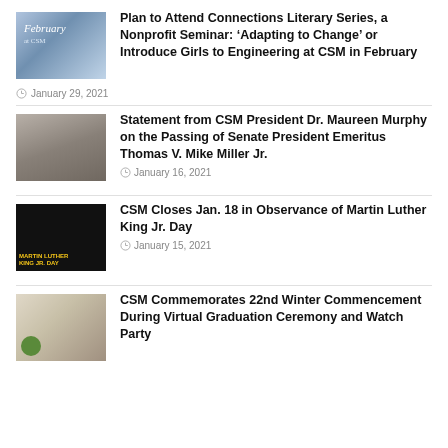[Figure (photo): Thumbnail image showing February at CSM promotional graphic with building]
Plan to Attend Connections Literary Series, a Nonprofit Seminar: ‘Adapting to Change’ or Introduce Girls to Engineering at CSM in February
January 29, 2021
[Figure (photo): Thumbnail photo of CSM President Dr. Maureen Murphy with Senate President]
Statement from CSM President Dr. Maureen Murphy on the Passing of Senate President Emeritus Thomas V. Mike Miller Jr.
January 16, 2021
[Figure (photo): Martin Luther King Jr. Day graphic with silhouette portrait]
CSM Closes Jan. 18 in Observance of Martin Luther King Jr. Day
January 15, 2021
[Figure (photo): CSM 22nd Winter Commencement photo collage with graduates]
CSM Commemorates 22nd Winter Commencement During Virtual Graduation Ceremony and Watch Party